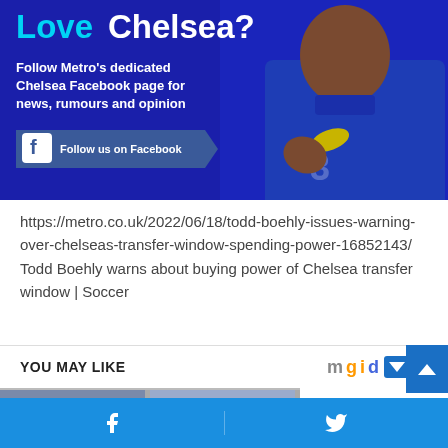[Figure (infographic): Dark blue banner advertisement for Metro's Chelsea Facebook page. Shows text 'Love Chelsea?' in cyan and white, subtext 'Follow Metro's dedicated Chelsea Facebook page for news, rumours and opinion', a Facebook follow button, and a photo of a Chelsea footballer in blue kit.]
https://metro.co.uk/2022/06/18/todd-boehly-issues-warning-over-chelseas-transfer-window-spending-power-16852143/
Todd Boehly warns about buying power of Chelsea transfer window | Soccer
YOU MAY LIKE
[Figure (photo): Partial thumbnail image visible at bottom of page]
Facebook share button | Twitter share button